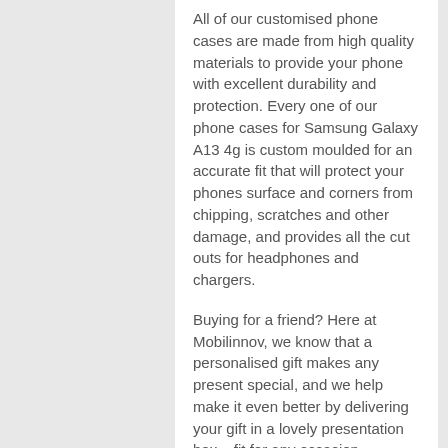All of our customised phone cases are made from high quality materials to provide your phone with excellent durability and protection. Every one of our phone cases for Samsung Galaxy A13 4g is custom moulded for an accurate fit that will protect your phones surface and corners from chipping, scratches and other damage, and provides all the cut outs for headphones and chargers.
Buying for a friend? Here at Mobilinnov, we know that a personalised gift makes any present special, and we help make it even better by delivering your gift in a lovely presentation box – fit for any occasion.
So why not give your Samsung the style and durable protection it deserves, by creating the perfect personalised Samsung Galaxy A13 4g case today, and have a phone you're proud to carry.